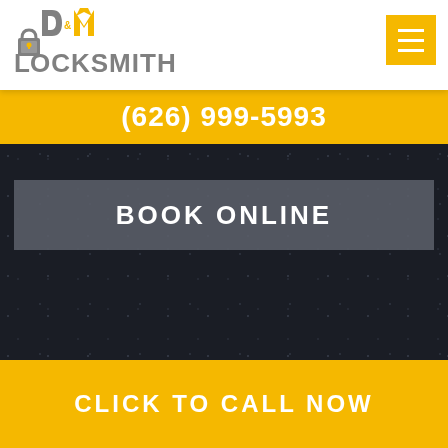[Figure (logo): D&M Locksmith logo with yellow and grey lettering and a lock icon]
(626) 999-5993
BOOK ONLINE
CLICK TO CALL NOW